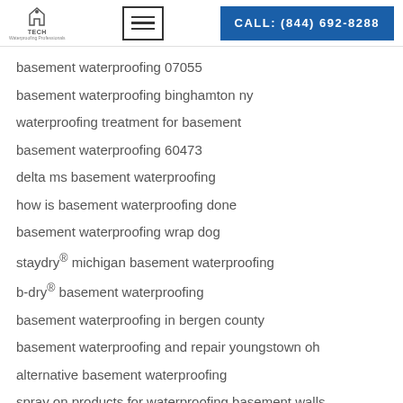TECH logo | hamburger menu | CALL: (844) 692-8288
basement waterproofing 07055
basement waterproofing binghamton ny
waterproofing treatment for basement
basement waterproofing 60473
delta ms basement waterproofing
how is basement waterproofing done
basement waterproofing wrap dog
staydry® michigan basement waterproofing
b-dry® basement waterproofing
basement waterproofing in bergen county
basement waterproofing and repair youngstown oh
alternative basement waterproofing
spray on products for waterproofing basement walls
waterproofing plywood subfloor in basement